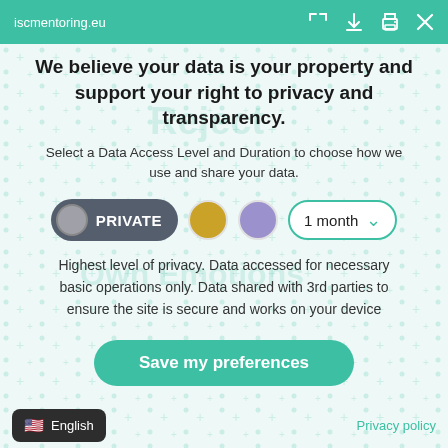iscmentoring.eu
We believe your data is your property and support your right to privacy and transparency.
Select a Data Access Level and Duration to choose how we use and share your data.
[Figure (screenshot): Privacy controls row with PRIVATE button (dark grey pill with grey circle icon), gold circle button, lavender circle button, and a '1 month' dropdown selector with teal border]
Highest level of privacy. Data accessed for necessary basic operations only. Data shared with 3rd parties to ensure the site is secure and works on your device
[Figure (other): Save my preferences button - large teal rounded pill button]
English   Privacy policy